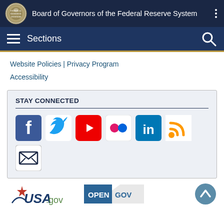Board of Governors of the Federal Reserve System
Sections
Website Policies | Privacy Program
Accessibility
STAY CONNECTED
[Figure (logo): Social media icons: Facebook, Twitter, YouTube, Flickr, LinkedIn, RSS feed, and Email]
[Figure (logo): USA.gov logo]
[Figure (logo): OPEN GOV badge]
[Figure (other): Back to top button with up arrow]